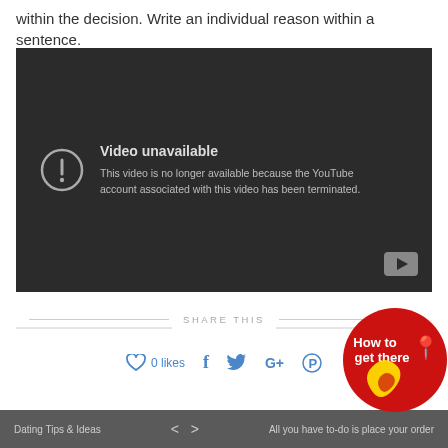within the decision. Write an individual reason within a sentence.
[Figure (screenshot): Embedded YouTube video player showing 'Video unavailable' error message. The video is no longer available because the YouTube account associated with this video has been terminated.]
SHARE THIS
0 likes
[Figure (logo): Red circular badge with 'How to get there' text and yellow map pin logo]
Dating Tips & Ideas   <   >   All you have to-do is place your order